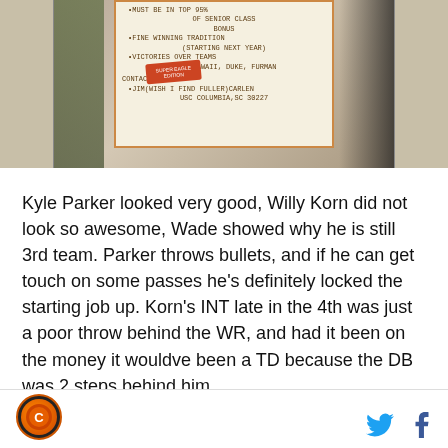[Figure (photo): Photo of a handwritten/printed sign on a window or board with text about requirements including being in top 95% of senior class, bonus items like fine winning tradition, victories over teams like Hawaii, Duke, Furman, and contact information for Jim (Wish I Find Fuller) Carlen, USC Columbia SC 30227. A red sticker is partially visible on the left side of the sign. Left side shows tree/foliage, right side shows a dark silhouette.]
Kyle Parker looked very good, Willy Korn did not look so awesome, Wade showed why he is still 3rd team. Parker throws bullets, and if he can get touch on some passes he's definitely locked the starting job up. Korn's INT late in the 4th was just a poor throw behind the WR, and had it been on the money it wouldve been a TD because the DB was 2 steps behind him.